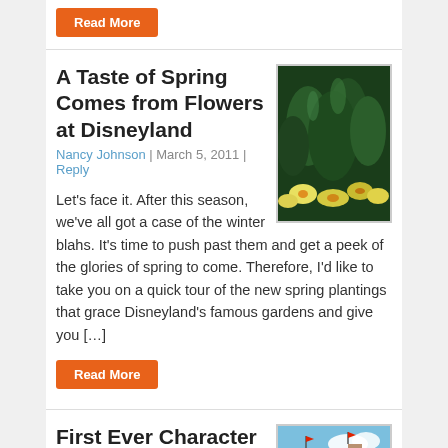Read More
A Taste of Spring Comes from Flowers at Disneyland
Nancy Johnson | March 5, 2011 | Reply
[Figure (photo): Photo of spring flowers including yellow daffodils against dark green foliage]
Let’s face it.  After this season, we’ve all got a case of the winter blahs.  It’s time to push past them and get a peek of the glories of spring to come. Therefore, I’d like to take you on a quick tour of the new spring plantings that grace Disneyland’s famous gardens and  give you […]
Read More
First Ever Character Meet FASTPASS Coming to Magic Kingdom
[Figure (photo): Photo of Magic Kingdom castle area with decorations, flags and trees]